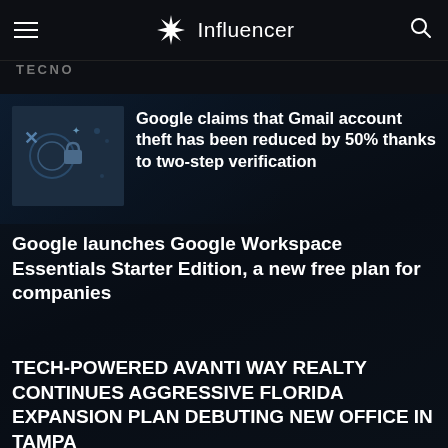Influencer
TECNO
Google claims that Gmail account theft has been reduced by 50% thanks to two-step verification
Google launches Google Workspace Essentials Starter Edition, a new free plan for companies
TECH-POWERED AVANTI WAY REALTY CONTINUES AGGRESSIVE FLORIDA EXPANSION PLAN DEBUTING NEW OFFICE IN TAMPA